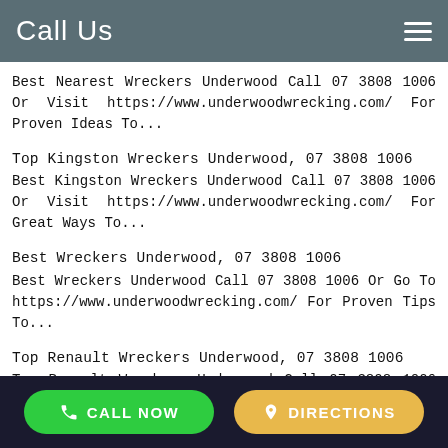Call Us
Best Nearest Wreckers Underwood Call 07 3808 1006 Or Visit https://www.underwoodwrecking.com/ For Proven Ideas To...
Top Kingston Wreckers Underwood, 07 3808 1006
Best Kingston Wreckers Underwood Call 07 3808 1006 Or Visit https://www.underwoodwrecking.com/ For Great Ways To...
Best Wreckers Underwood, 07 3808 1006
Best Wreckers Underwood Call 07 3808 1006 Or Go To https://www.underwoodwrecking.com/ For Proven Tips To...
Top Renault Wreckers Underwood, 07 3808 1006
Top Renault Wreckers Underwood Call 07 3808 1006 Or Visit https://www.underwoodwrecking.com/ For Proven Advice To...
CALL NOW | DIRECTIONS